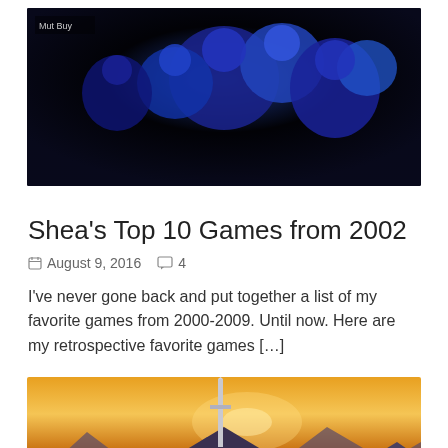[Figure (illustration): Dark blue-toned video game artwork showing cartoon/animated characters silhouetted against a dark blue background]
Shea’s Top 10 Games from 2002
August 9, 2016   4
I’ve never gone back and put together a list of my favorite games from 2000-2009. Until now. Here are my retrospective favorite games […]
[Figure (photo): The Legend of Zelda: Breath of the Wild game title screen with mountains, a sword, and dramatic sunset sky]